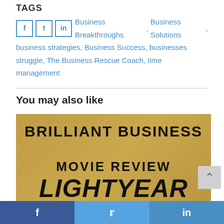TAGS
Business Breakthroughs, Business Solutions, business strategies, Business Success, businesses struggle, The Business Rescue Coach, time management
You may also like
[Figure (photo): Book/poster image with aged paper background showing text: BRILLIANT BUSINESS MOVIE REVIEW and LIGHTYEAR]
Facebook share · Twitter share · LinkedIn share